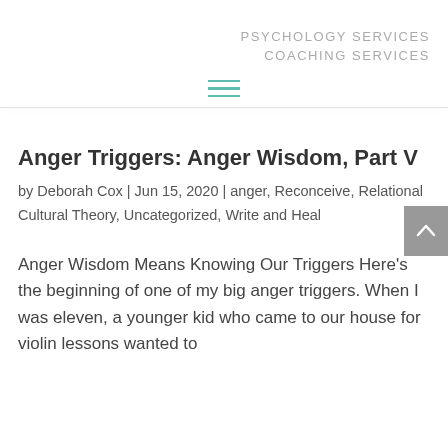PSYCHOLOGY SERVICES
COACHING SERVICES
Anger Triggers: Anger Wisdom, Part V
by Deborah Cox | Jun 15, 2020 | anger, Reconceive, Relational Cultural Theory, Uncategorized, Write and Heal
Anger Wisdom Means Knowing Our Triggers Here’s the beginning of one of my big anger triggers. When I was eleven, a younger kid who came to our house for violin lessons wanted to